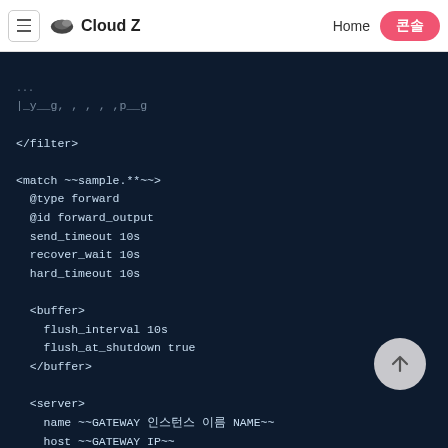Cloud Z — Home | 콘솔
</filter>

<match ~~sample.**~~>
  @type forward
  @id forward_output
  send_timeout 10s
  recover_wait 10s
  hard_timeout 10s

  <buffer>
    flush_interval 10s
    flush_at_shutdown true
  </buffer>

  <server>
    name ~~GATEWAY 인스턴스 이름 NAME~~
    host ~~GATEWAY IP~~
    port ~~GATEWAY PORT~~
  </server>